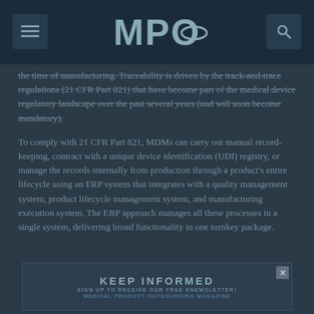MPO
the time of manufacturing. Traceability is driven by the track-and-trace regulations (21 CFR Part 821) that have become part of the medical device regulatory landscape over the past several years (and will soon become mandatory).
To comply with 21 CFR Part 821, MDMs can carry out manual record-keeping, contract with a unique device identification (UDI) registry, or manage the records internally from production through a product's entire lifecycle using an ERP system that integrates with a quality management system, product lifecycle management system, and manufacturing execution system. The ERP approach manages all these processes in a single system, delivering broad functionality in one turnkey package.
[Figure (infographic): KEEP INFORMED banner advertisement - Sign up to receive our free eNewsletter! Medical Product Outsourcing Magazine]